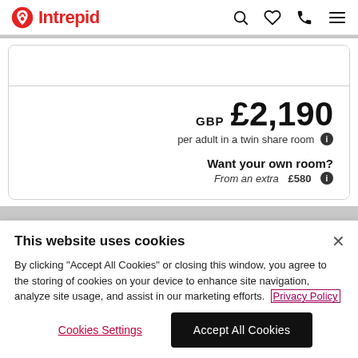Intrepid
GBP £2,190 per adult in a twin share room
Want your own room? From an extra £580
This website uses cookies
By clicking "Accept All Cookies" or closing this window, you agree to the storing of cookies on your device to enhance site navigation, analyze site usage, and assist in our marketing efforts. Privacy Policy
Cookies Settings
Accept All Cookies